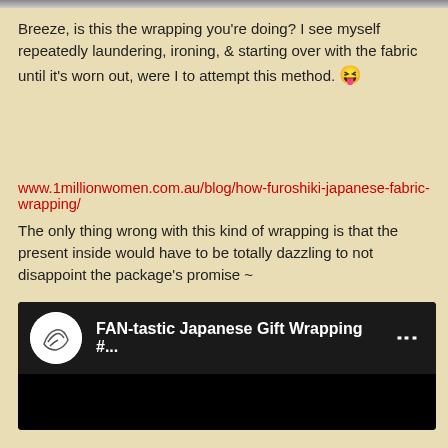[Figure (photo): Thin strip at top of page showing partial image]
Breeze, is this the wrapping you're doing? I see myself repeatedly laundering, ironing, & starting over with the fabric until it's worn out, were I to attempt this method. 😝
www.1millionwomen.com.au/blog/how-furoshiki-japanese-fabric-wrapping/
The only thing wrong with this kind of wrapping is that the present inside would have to be totally dazzling to not disappoint the package's promise ~
[Figure (screenshot): Embedded YouTube video thumbnail showing FAN-tastic Japanese Gift Wrapping #... with channel avatar and three-dot menu]